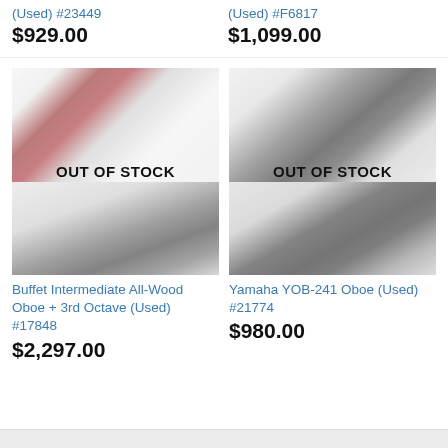(Used) #23449
$929.00
(Used) #F6817
$1,099.00
[Figure (photo): Oboe with red velvet case, clarinet visible below, OUT OF STOCK overlay]
[Figure (photo): Oboe with black case/bag, OUT OF STOCK overlay]
Buffet Intermediate All-Wood Oboe + 3rd Octave (Used) #17848
$2,297.00
Yamaha YOB-241 Oboe (Used) #21774
$980.00